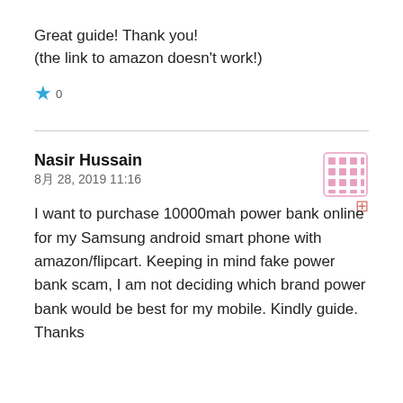Great guide! Thank you!
(the link to amazon doesn't work!)
★ 0
Nasir Hussain
8月 28, 2019 11:16
I want to purchase 10000mah power bank online for my Samsung android smart phone with amazon/flipcart. Keeping in mind fake power bank scam, I am not deciding which brand power bank would be best for my mobile. Kindly guide. Thanks